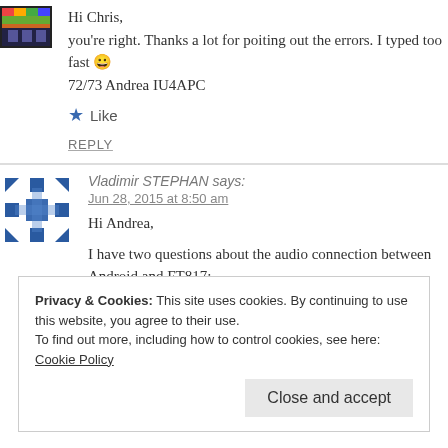[Figure (photo): Small colorful avatar image in top left]
Hi Chris,
you're right. Thanks a lot for poiting out the errors. I typed too fast 😀
72/73 Andrea IU4APC
★ Like
REPLY
[Figure (illustration): Blue geometric snowflake-style avatar for Vladimir STEPHAN]
Vladimir STEPHAN says:
Jun 28, 2015 at 8:50 am
Hi Andrea,
I have two questions about the audio connection between Android and FT817:
73 Vlad F4FNA
Privacy & Cookies: This site uses cookies. By continuing to use this website, you agree to their use.
To find out more, including how to control cookies, see here: Cookie Policy
Close and accept